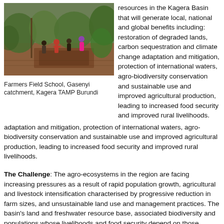[Figure (photo): People working in a field/catchment area, Farmers Field School, Gasenyi catchment, Kagera TAMP Burundi]
Farmers Field School, Gasenyi catchment, Kagera TAMP Burundi
resources in the Kagera Basin that will generate local, national and global benefits including: restoration of degraded lands, carbon sequestration and climate change adaptation and mitigation, protection of international waters, agro-biodiversity conservation and sustainable use and improved agricultural production, leading to increased food security and improved rural livelihoods.
The Challenge: The agro-ecosystems in the region are facing increasing pressures as a result of rapid population growth, agricultural and livestock intensification characterised by progressive reduction in farm sizes, and unsustainable land use and management practices. The basin's land and freshwater resource base, associated biodiversity and populations whose livelihoods and food security depend on those resources, are threatened by land degradation, declining productive capacity of croplands and rangelands, deforestation and encroachment of agriculture into wetlands. Climate change and variability aggravates these threats.